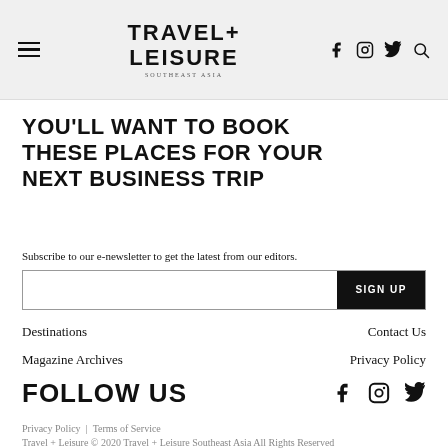TRAVEL+ LEISURE
YOU'LL WANT TO BOOK THESE PLACES FOR YOUR NEXT BUSINESS TRIP
Subscribe to our e-newsletter to get the latest from our editors.
Destinations
Contact Us
Magazine Archives
Privacy Policy
FOLLOW US
Privacy Policy | Terms of Service
Travel + Leisure © 2020 Travel + Leisure Southeast Asia All Rights Reserved